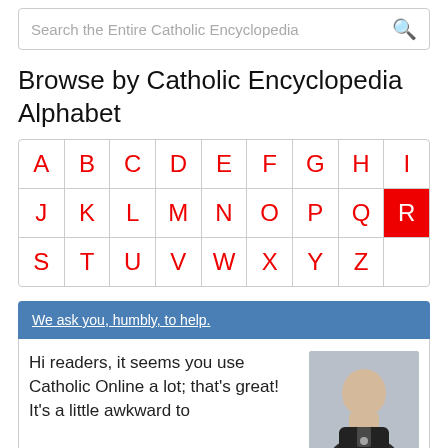Search the Entire Catholic Encyclopedia
Browse by Catholic Encyclopedia Alphabet
| A | B | C | D | E | F | G | H | I | J | K | L | M | N | O | P | Q | R | S | T | U | V | W | X | Y | Z |
| --- | --- | --- | --- | --- | --- | --- | --- | --- | --- | --- | --- | --- | --- | --- | --- | --- | --- | --- | --- | --- | --- | --- | --- | --- | --- |
| A | B | C | D | E | F | G | H | I |
| J | K | L | M | N | O | P | Q | R |
| S | T | U | V | W | X | Y | Z |  |
We ask you, humbly, to help.
Hi readers, it seems you use Catholic Online a lot; that's great! It's a little awkward to